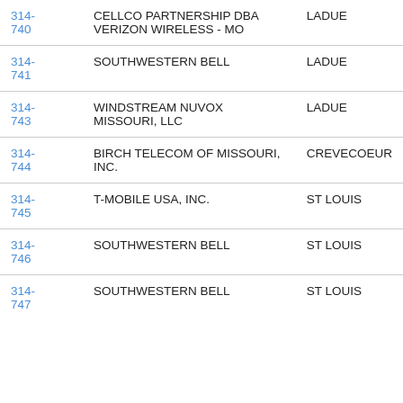| 314-740 | CELLCO PARTNERSHIP DBA VERIZON WIRELESS - MO | LADUE |
| 314-741 | SOUTHWESTERN BELL | LADUE |
| 314-743 | WINDSTREAM NUVOX MISSOURI, LLC | LADUE |
| 314-744 | BIRCH TELECOM OF MISSOURI, INC. | CREVECOEUR |
| 314-745 | T-MOBILE USA, INC. | ST LOUIS |
| 314-746 | SOUTHWESTERN BELL | ST LOUIS |
| 314-747 | SOUTHWESTERN BELL | ST LOUIS |